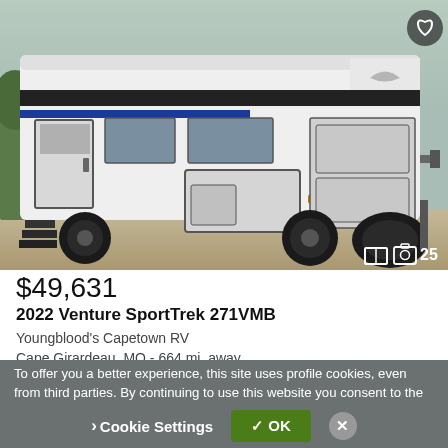[Figure (photo): Exterior side view of a white 2022 Venture SportTrek 271VMB travel trailer RV with black and blue accent stripes, steps, storage compartment, and spare tire on the right. Photo icon shows 25 images.]
$49,631
2022 Venture SportTrek 271VMB
Youngblood's Capetown RV
Cape Girardeau, MO - 664 mi. away
To offer you a better experience, this site uses profile cookies, even from third parties. By continuing to use this website you consent to the use of cookies. For more information or to select your preferences consult our Privacy Policy
Cookie Settings
✓ OK